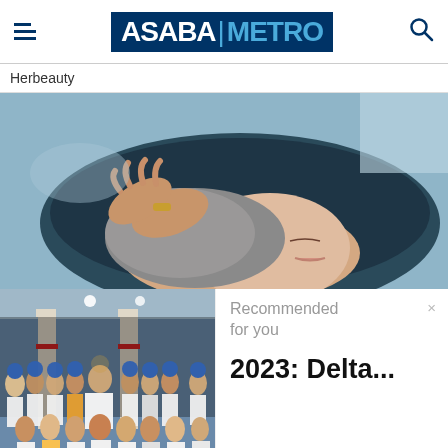ASABA METRO
Herbeauty
[Figure (photo): Person getting hair washed at a salon sink, hands massaging shampoo into gray/white hair, person's face visible with eyes closed]
[Figure (photo): Group photo of people in a hall, many wearing blue caps and aprons, standing in front of pillars with red trim]
Recommended for you
2023: Delta...
www.asabametro.com